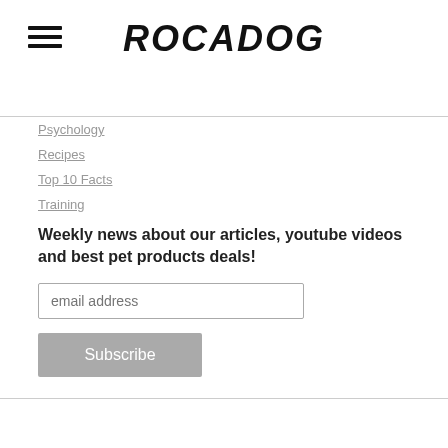ROCADOG
Psychology
Recipes
Top 10 Facts
Training
Weekly news about our articles, youtube videos and best pet products deals!
email address
Subscribe